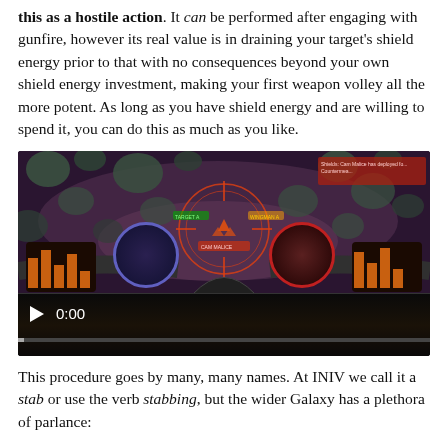this as a hostile action. It can be performed after engaging with gunfire, however its real value is in draining your target's shield energy prior to that with no consequences beyond your own shield energy investment, making your first weapon volley all the more potent. As long as you have shield energy and are willing to spend it, you can do this as much as you like.
[Figure (screenshot): A screenshot of a space combat video game showing a first-person cockpit view. The scene shows asteroids floating in space, a target ship in the center of the HUD with orange targeting reticles, cockpit instruments at the bottom with orange bar displays and circular dials, and a video player control bar at the bottom showing 0:00.]
This procedure goes by many, many names. At INIV we call it a stab or use the verb stabbing, but the wider Galaxy has a plethora of parlance: